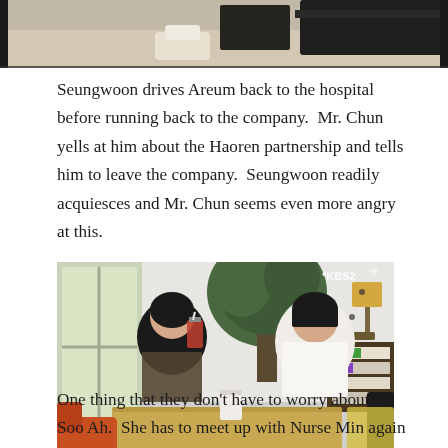[Figure (photo): Top portion of a TV drama scene showing a room interior with dark furniture including a black sofa/couch visible from above]
Seungwoon drives Areum back to the hospital before running back to the company.  Mr. Chun yells at him about the Haoren partnership and tells him to leave the company.  Seungwoon readily acquiesces and Mr. Chun seems even more angry at this.
[Figure (photo): KBS2 TV drama screenshot showing two women sitting at a cafe table. One woman in a dark top with lace pattern is drinking from a glass with a straw, the other woman in white is across from her. A large green plant and bookshelf are visible in the background.]
One thing that they don't have to worry about is Soo Ah.  She has to meet up with Nurse Min again to tell her that she's preparing the